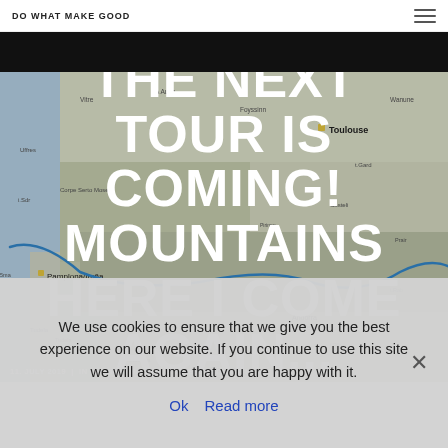DO WHAT MAKE GOOD
[Figure (map): Map showing hiking route across Pyrenees region, from San Sebastian through Pamplona/Iruña to Andorra la Vella and Toulouse area, with a blue route line drawn across the mountains.]
THE NEXT TOUR IS COMING! MOUNTAINS HERE I COME AGAIN...
11. JULY 2019 | IN HIKING, THOUGHTS & REFLECTIONS, HBR -
We use cookies to ensure that we give you the best experience on our website. If you continue to use this site we will assume that you are happy with it.
Ok   Read more